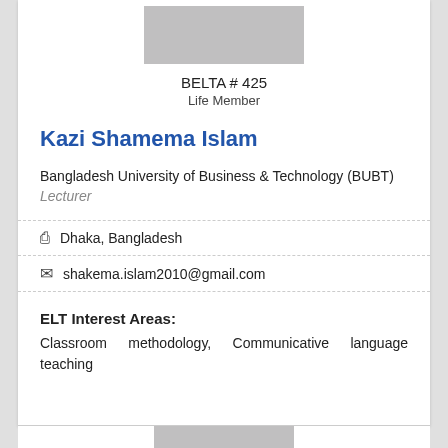[Figure (photo): Gray placeholder photo box for member profile image]
BELTA # 425
Life Member
Kazi Shamema Islam
Bangladesh University of Business & Technology (BUBT)
Lecturer
Dhaka, Bangladesh
shakema.islam2010@gmail.com
ELT Interest Areas:
Classroom methodology, Communicative language teaching